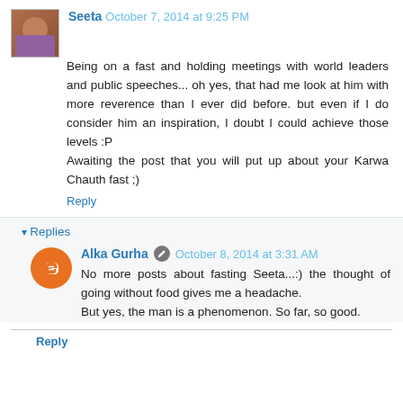Seeta  October 7, 2014 at 9:25 PM
Being on a fast and holding meetings with world leaders and public speeches... oh yes, that had me look at him with more reverence than I ever did before. but even if I do consider him an inspiration, I doubt I could achieve those levels :P
Awaiting the post that you will put up about your Karwa Chauth fast ;)
Reply
Replies
Alka Gurha  October 8, 2014 at 3:31 AM
No more posts about fasting Seeta...:) the thought of going without food gives me a headache.
But yes, the man is a phenomenon. So far, so good.
Reply